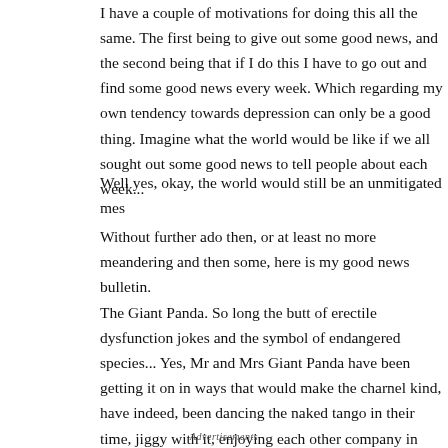I have a couple of motivations for doing this all the same. The first being to give out some good news, and the second being that if I do this I have to go out and find some good news every week. Which regarding my own tendency towards depression can only be a good thing. Imagine what the world would be like if we all sought out some good news to tell people about each week...
Well yes, okay, the world would still be an unmitigated mess.
Without further ado then, or at least no more meandering then usual, here is my good news bulletin.
The Giant Panda. So long the butt of erectile dysfunction jokes and the symbol of endangered species... Yes, Mr and Mrs Giant Panda have been getting it on in ways that would make the charnel kind, have indeed, been dancing the naked tango if you will, getting their collective jiggy with it, enjoying each other company in intimate ways... In other words, to use the technical word on it SEX... Yes, this famously fringed species has thawed out enough to produce babies, quite a lot of babies. So many that the symbol of the WWF (the wildlife one, not the American wrestlers) may have to change from the old b
Advertisements